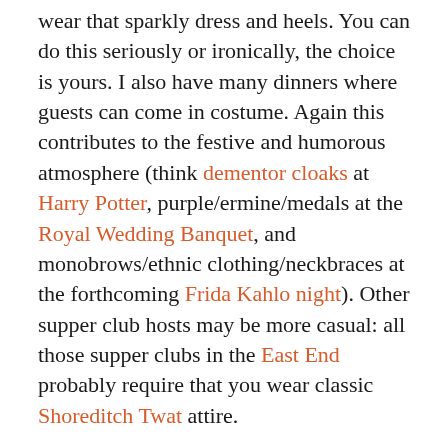wear that sparkly dress and heels. You can do this seriously or ironically, the choice is yours. I also have many dinners where guests can come in costume. Again this contributes to the festive and humorous atmosphere (think dementor cloaks at Harry Potter, purple/ermine/medals at the Royal Wedding Banquet, and monobrows/ethnic clothing/neckbraces at the forthcoming Frida Kahlo night). Other supper club hosts may be more casual: all those supper clubs in the East End probably require that you wear classic Shoreditch Twat attire.
13) Helping out: few supper club hosts want help before and during a dinner. Too many people in the kitchen is stressful. But most supper club